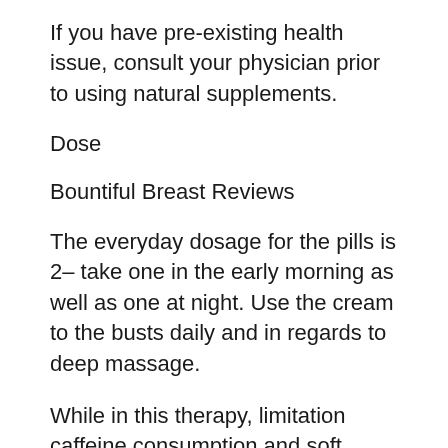If you have pre-existing health issue, consult your physician prior to using natural supplements.
Dose
Bountiful Breast Reviews
The everyday dosage for the pills is 2– take one in the early morning as well as one at night. Use the cream to the busts daily and in regards to deep massage.
While in this therapy, limitation caffeine consumption and soft drinks to an optimum of one glass daily. See described directions for usage.